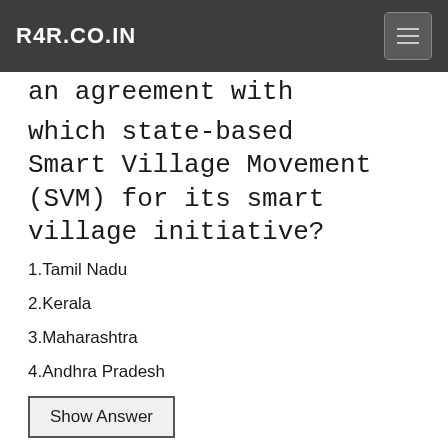R4R.CO.IN
an agreement with which state-based Smart Village Movement (SVM) for its smart village initiative?
1.Tamil Nadu
2.Kerala
3.Maharashtra
4.Andhra Pradesh
Show Answer